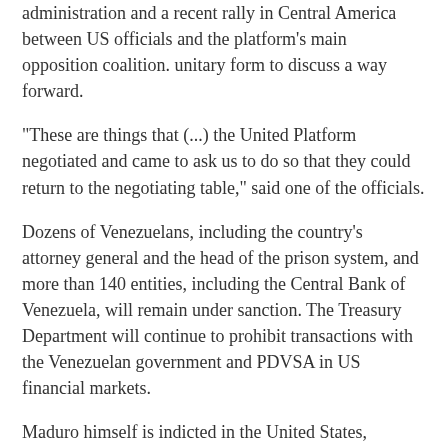administration and a recent rally in Central America between US officials and the platform's main opposition coalition. unitary form to discuss a way forward.
“These are things that (...) the United Platform negotiated and came to ask us to do so that they could return to the negotiating table,” said one of the officials.
Dozens of Venezuelans, including the country’s attorney general and the head of the prison system, and more than 140 entities, including the Central Bank of Venezuela, will remain under sanction. The Treasury Department will continue to prohibit transactions with the Venezuelan government and PDVSA in US financial markets.
Maduro himself is indicted in the United States, accused of conspiring “to flood the United States with cocaine” and using drug trafficking as a “weapon against America”.
The Venezuelan government suspended talks with the opposition in October after a key Maduro ally was extradited to the United States on charges of money laundering. Maduro then conditioned his return to the negotiating table on the release of businessman